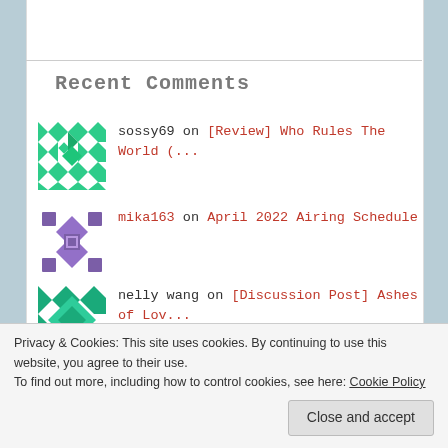Recent Comments
sossy69 on [Review] Who Rules The World (...
mika163 on April 2022 Airing Schedule
nelly wang on [Discussion Post] Ashes of Lov...
nelly wang on [Discussion Post] Ashes
Privacy & Cookies: This site uses cookies. By continuing to use this website, you agree to their use.
To find out more, including how to control cookies, see here: Cookie Policy
Close and accept